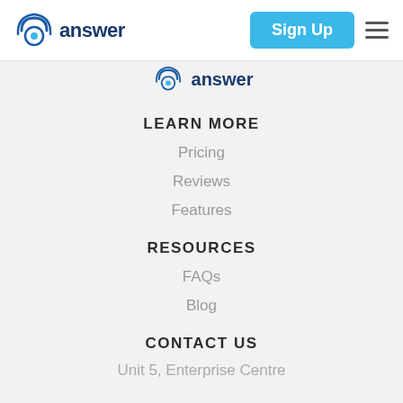[Figure (logo): Answer logo with circular WiFi/eye icon and 'answer' text in dark blue, in top navigation bar]
Sign Up
[Figure (logo): Answer logo partially visible - circular icon and 'answer' text in dark blue]
LEARN MORE
Pricing
Reviews
Features
RESOURCES
FAQs
Blog
CONTACT US
Unit 5, Enterprise Centre